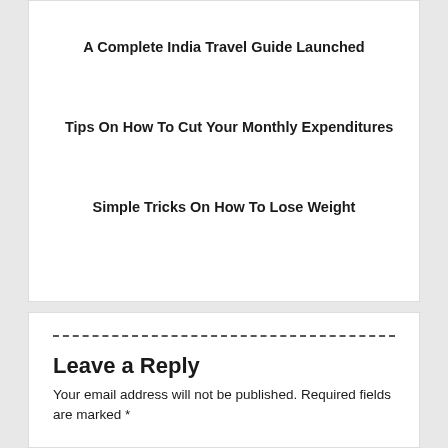A Complete India Travel Guide Launched
Tips On How To Cut Your Monthly Expenditures
Simple Tricks On How To Lose Weight
Leave a Reply
Your email address will not be published. Required fields are marked *